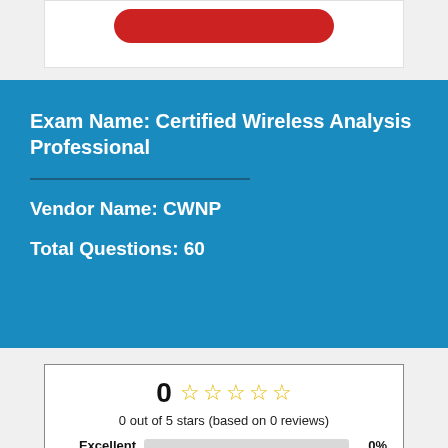[Figure (other): Red rounded button at top of white box]
Exam Name: Certified Wireless Analysis Professional
Vendor Name: CWNP
Total Questions: 60
[Figure (other): Rating box showing 0 out of 5 stars based on 0 reviews, with bar chart rows for Excellent, Very good, Average all at 0%]